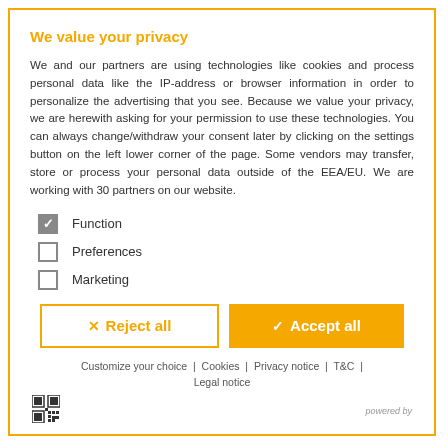We value your privacy
We and our partners are using technologies like cookies and process personal data like the IP-address or browser information in order to personalize the advertising that you see. Because we value your privacy, we are herewith asking for your permission to use these technologies. You can always change/withdraw your consent later by clicking on the settings button on the left lower corner of the page. Some vendors may transfer, store or process your personal data outside of the EEA/EU. We are working with 30 partners on our website.
Function (checked)
Preferences
Marketing
Reject all | Accept all
Customize your choice | Cookies | Privacy notice | T&C | Legal notice
powered by